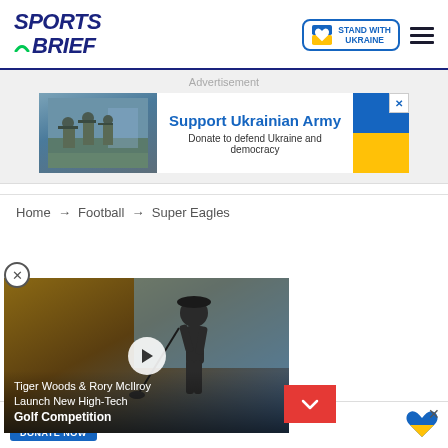[Figure (logo): Sports Brief logo — dark blue italic bold text with green arc]
[Figure (logo): Stand with Ukraine badge with heart flag icon]
Advertisement
[Figure (photo): Ukrainian army soldiers advertisement banner — Support Ukrainian Army. Donate to defend Ukraine and democracy. With blue and yellow Ukrainian flag.]
Home → Football → Super Eagles
[Figure (screenshot): Video popup: Tiger Woods & Rory McIlroy Launch New High-Tech Golf Competition with play button overlay]
…iants eye big …les star Samuel
[Figure (photo): Bottom ad: Help Protect Ukrainian Families. DONATE NOW button with Ukraine heart flag logo.]